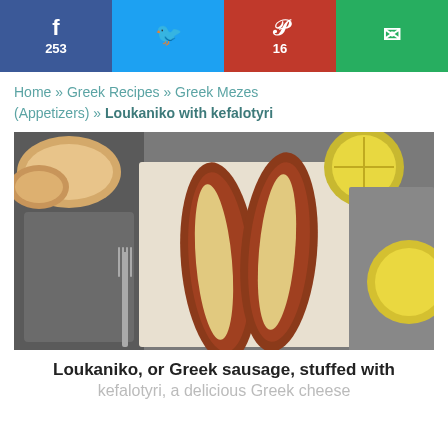[Figure (infographic): Social share bar with Facebook (253), Twitter, Pinterest (16), and Email buttons]
Home » Greek Recipes » Greek Mezes (Appetizers) » Loukaniko with kefalotyri
[Figure (photo): Overhead photo of two loukaniko Greek sausages split open and stuffed with melted kefalotyri cheese, served on parchment paper with lemons and bread in background]
Loukaniko, or Greek sausage, stuffed with kefalotyri, a delicious Greek cheese